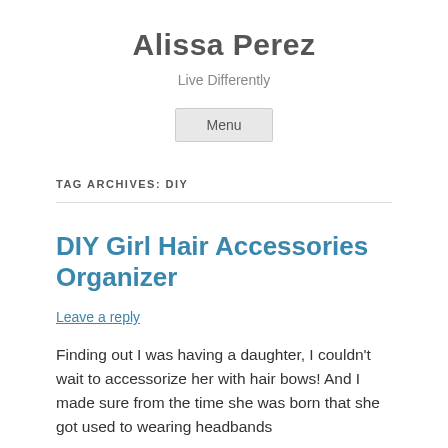Alissa Perez
Live Differently
Menu
TAG ARCHIVES: DIY
DIY Girl Hair Accessories Organizer
Leave a reply
Finding out I was having a daughter, I couldn't wait to accessorize her with hair bows!  And I made sure from the time she was born that she got used to wearing headbands